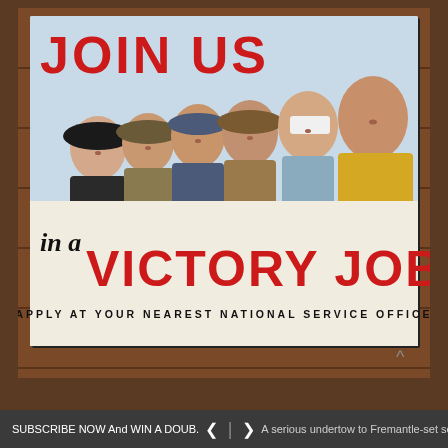[Figure (photo): Photograph of a WWII-era 'Join Us in a Victory Job' recruitment poster displayed on a wooden wall. The poster shows six smiling women in various uniforms and work clothes. Large red text reads 'JOIN US' at the top, italic text reads 'in a' and large red block letters read 'VICTORY JOB' below the women illustration. Smaller text reads 'APPLY AT YOUR NEAREST NATIONAL SERVICE OFFICE'.]
SUBSCRIBE NOW And WIN A DOUB...   >   A serious undertow to Fremantle-set sex ...